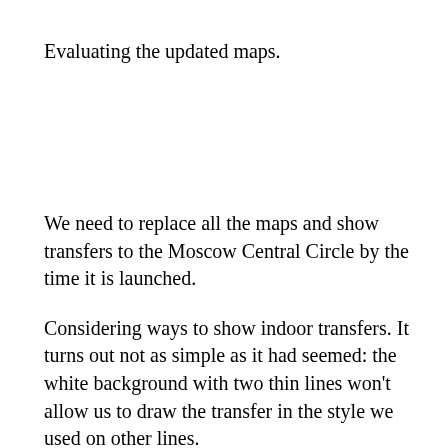Evaluating the updated maps.
We need to replace all the maps and show transfers to the Moscow Central Circle by the time it is launched.
Considering ways to show indoor transfers. It turns out not as simple as it had seemed: the white background with two thin lines won’t allow us to draw the transfer in the style we used on other lines.